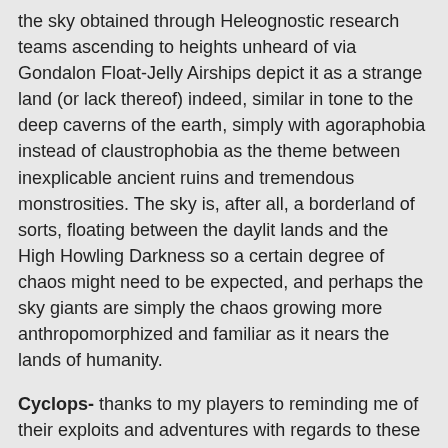the sky obtained through Heleognostic research teams ascending to heights unheard of via Gondalon Float-Jelly Airships depict it as a strange land (or lack thereof) indeed, similar in tone to the deep caverns of the earth, simply with agoraphobia instead of claustrophobia as the theme between inexplicable ancient ruins and tremendous monstrosities. The sky is, after all, a borderland of sorts, floating between the daylit lands and the High Howling Darkness so a certain degree of chaos might need to be expected, and perhaps the sky giants are simply the chaos growing more anthropomorphized and familiar as it nears the lands of humanity.
Cyclops- thanks to my players to reminding me of their exploits and adventures with regards to these giants.
Cycladea is a strange land, once a peninsula that broke into flying winged mountains that flew across the sea and settled as a reef-rimmed archipelago (save for the flying mountain Aakasa Parvat, but I digress). Many thrilling tales of the 5th age come from these vaguely grecian (and entirely lungfungusian) islands, such as the ascendancy of the